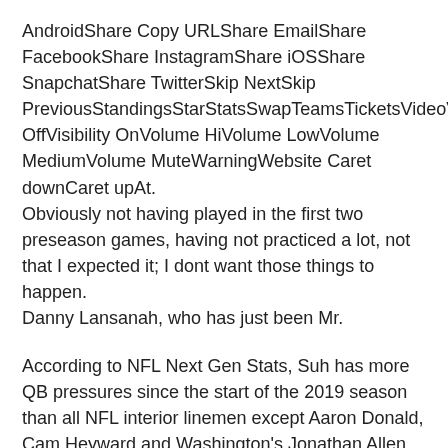AndroidShare Copy URLShare EmailShare FacebookShare InstagramShare iOSShare SnapchatShare TwitterSkip NextSkip PreviousStandingsStarStatsSwapTeamsTicketsVideoVisibility OffVisibility OnVolume HiVolume LowVolume MediumVolume MuteWarningWebsite Caret downCaret upAt.
Obviously not having played in the first two preseason games, having not practiced a lot, not that I expected it; I dont want those things to happen.
Danny Lansanah, who has just been Mr.
According to NFL Next Gen Stats, Suh has more QB pressures since the start of the 2019 season than all NFL interior linemen except Aaron Donald, Cam Heyward and Washington's Jonathan Allen.
But, sometimes it lies out there and tape tells the truth, so I'll wait and see the tape.